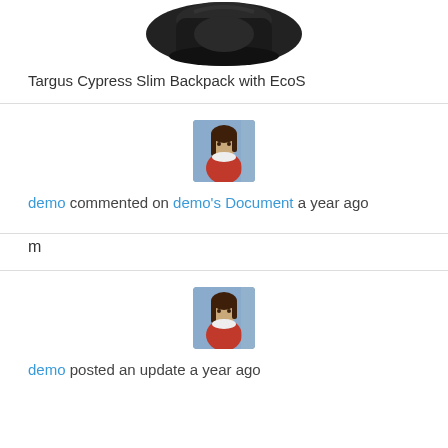[Figure (photo): Partial view of Targus Cypress Slim Backpack product image (top portion, black backpack on white background)]
Targus Cypress Slim Backpack with EcoS
[Figure (photo): Avatar image of user 'demo' - illustrated character, a woman in fantasy/game art style]
demo commented on demo's Document a year ago
m
[Figure (photo): Avatar image of user 'demo' - illustrated character, a woman in fantasy/game art style]
demo posted an update a year ago